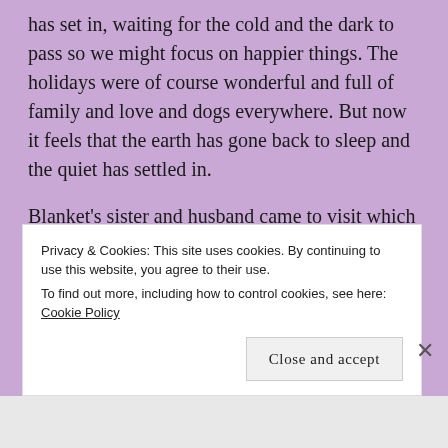has set in, waiting for the cold and the dark to pass so we might focus on happier things. The holidays were of course wonderful and full of family and love and dogs everywhere. But now it feels that the earth has gone back to sleep and the quiet has settled in.
Blanket's sister and husband came to visit which was lovely. Brunnie finally made it. I have been asked to speak at a conference in Miami at the beginning of March so we will get to spend time with our friends, Carol and Stephen, and I am so looking forward to sunshine. Little coconut's puppy has brought nothing but joy to her life
Privacy & Cookies: This site uses cookies. By continuing to use this website, you agree to their use.
To find out more, including how to control cookies, see here: Cookie Policy
Close and accept